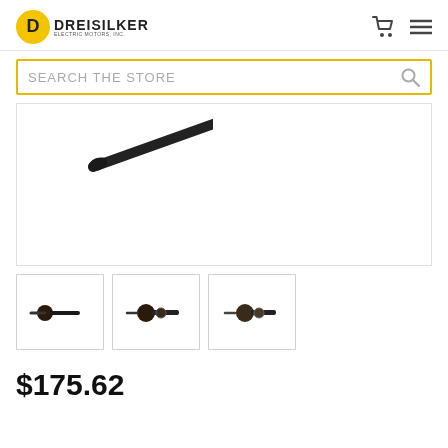[Figure (logo): Dreisilker Electric Motors Inc logo with yellow D icon]
[Figure (screenshot): Search bar with yellow border and text SEARCH THE STORE]
[Figure (photo): Main product image showing a black cable/wire component angled diagonally]
[Figure (photo): Three thumbnail images of electric motor brush/component product]
$175.62